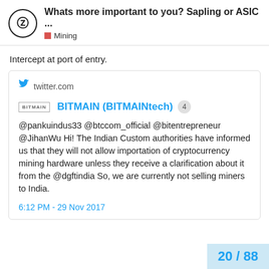Whats more important to you? Sapling or ASIC ... Mining
Intercept at port of entry.
[Figure (screenshot): Embedded tweet card from twitter.com showing BITMAIN (BITMAINtech) tweet: '@pankuindus33 @btccom_official @bitentrepreneur @JihanWu Hi! The Indian Custom authorities have informed us that they will not allow importation of cryptocurrency mining hardware unless they receive a clarification about it from the @dgftindia So, we are currently not selling miners to India.' dated 6:12 PM - 29 Nov 2017]
20 / 88